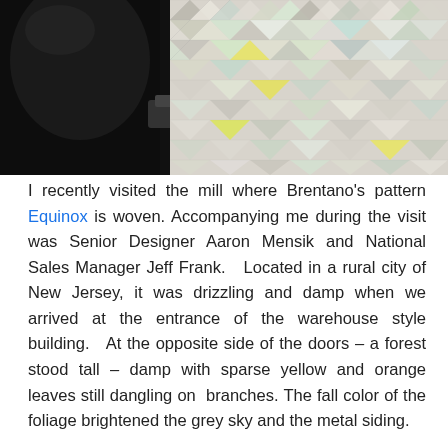[Figure (photo): Photo of a person in dark clothing examining or working near a geometric patterned fabric/textile with triangular shapes in grey, white, and yellow tones]
I recently visited the mill where Brentano's pattern Equinox is woven. Accompanying me during the visit was Senior Designer Aaron Mensik and National Sales Manager Jeff Frank.   Located in a rural city of New Jersey, it was drizzling and damp when we arrived at the entrance of the warehouse style building.   At the opposite side of the doors – a forest stood tall – damp with sparse yellow and orange leaves still dangling on  branches. The fall color of the foliage brightened the grey sky and the metal siding.
To much surprise, when we walked in a pleasant display of  Brentano fabrics greeted us.  We later found out that one employee in particular  prepared the fabric display for